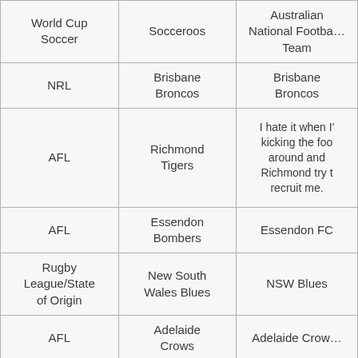| World Cup Soccer | Socceroos | Australian National Football Team |
| --- | --- | --- |
| NRL | Brisbane Broncos | Brisbane Broncos |
| AFL | Richmond Tigers | I hate it when I'm kicking the footy around and Richmond try to recruit me. |
| AFL | Essendon Bombers | Essendon FC |
| Rugby League/State of Origin | New South Wales Blues | NSW Blues |
| AFL | Adelaide Crows | Adelaide Crows |
| AFL | Collingwood Magpies | Collingwood Football Club |